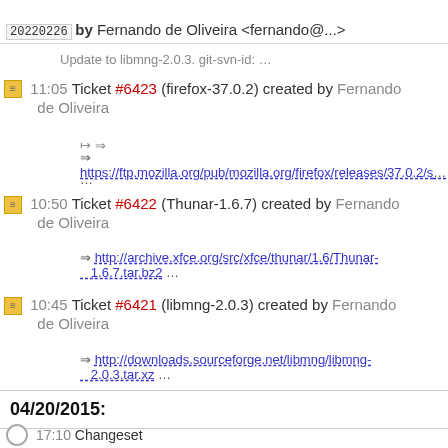20220226 by Fernando de Oliveira <fernando@...>
Update to libmng-2.0.3. git-svn-id: ...
11:05 Ticket #6423 (firefox-37.0.2) created by Fernando de Oliveira
https://ftp.mozilla.org/pub/mozilla.org/firefox/releases/37.0.2/so ...
10:50 Ticket #6422 (Thunar-1.6.7) created by Fernando de Oliveira
http://archive.xfce.org/src/xfce/thunar/1.6/Thunar-1.6.7.tar.bz2 ...
10:45 Ticket #6421 (libmng-2.0.3) created by Fernando de Oliveira
http://downloads.sourceforge.net/libmng/libmng-2.0.3.tar.xz ...
04/20/2015:
17:10 Changeset